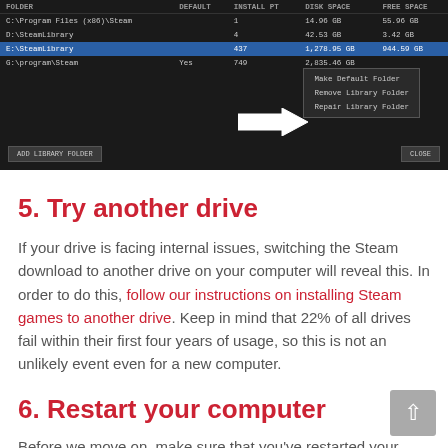[Figure (screenshot): Steam Library Folder Manager dialog showing folders table with columns FOLDER, DEFAULT, INSTALL PT, DISK SPACE, FREE SPACE. Rows: C:\Program Files (x86)\Steam (1, 14.96GB, 55.96GB), D:\SteamLibrary (4, 42.53GB, 3.42GB), E:\SteamLibrary highlighted in blue (437, 1,278.95GB, 944.59GB), G:\program\Steam (Yes, 749, 2,835.46GB). A context menu is visible with options: Make Default Folder, Remove Library Folder, Repair Library Folder. A white arrow points to 'Repair Library Folder'. Bottom buttons: ADD LIBRARY FOLDER and CLOSE.]
5. Try another drive
If your drive is facing internal issues, switching the Steam download to another drive on your computer will reveal this. In order to do this, follow our instructions on installing Steam games to another drive. Keep in mind that 22% of all drives fail within their first four years of usage, so this is not an unlikely event even for a new computer.
6. Restart your computer
Before we move on, make sure that you've restarted your computer at least once.